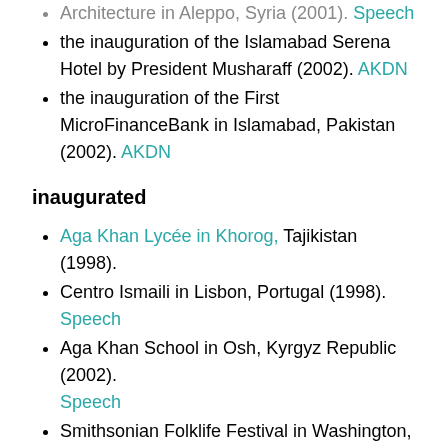Architecture in Aleppo, Syria (2001). Speech
the inauguration of the Islamabad Serena Hotel by President Musharaff (2002). AKDN
the inauguration of the First MicroFinanceBank in Islamabad, Pakistan (2002). AKDN
inaugurated
Aga Khan Lycée in Khorog, Tajikistan (1998).
Centro Ismaili in Lisbon, Portugal (1998). Speech
Aga Khan School in Osh, Kyrgyz Republic (2002). Speech
Smithsonian Folklife Festival in Washington, DC (2002). Speech
Ismaili Jamatkhana and Centre, Houston, USA (2002). Speech
the first of a series of bridges across the Pyanj River that consolidated permanent overland links between